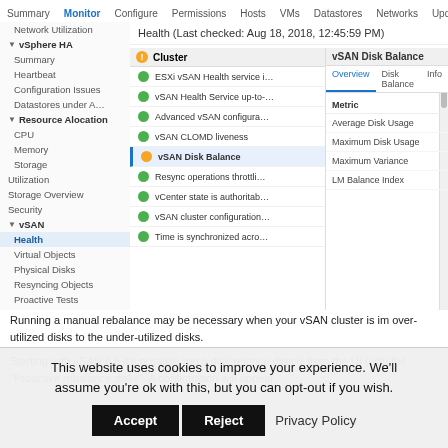[Figure (screenshot): VMware vSphere vSAN Health monitor screenshot showing cluster health status with vSAN Disk Balance selected, displaying metrics like Average Disk Usage, Maximum Disk Usage, Maximum Variance, and LM Balance Index in the right panel.]
Running a manual rebalance may be necessary when your vSAN cluster is im over-utilized disks to the under-utilized disks.
Starting with vSAN 6.5 it's possible run a disk relance direcly from the UI (with the "Proactive rebalance disks". A confirmation will appear.
This website uses cookies to improve your experience. We'll assume you're ok with this, but you can opt-out if you wish.